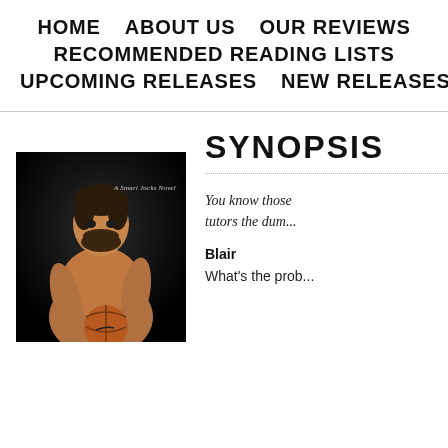HOME   ABOUT US   OUR REVIEWS   RECOMMENDED READING LISTS   UPCOMING RELEASES   NEW RELEASES   SALES
SYNOPSIS
[Figure (photo): Book cover of a Smart Jocks Novel featuring a shirtless male model with a beard holding a basketball against a dark background]
You know those tutors the dum...
Blair
What's the prob...